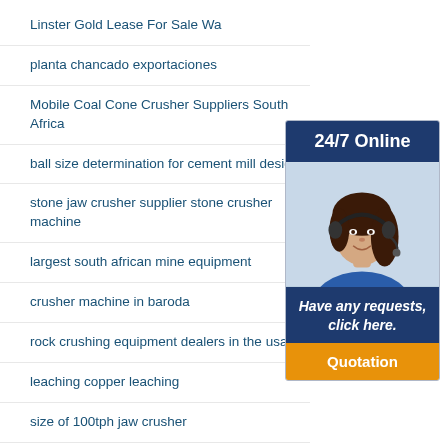Linster Gold Lease For Sale Wa
planta chancado exportaciones
Mobile Coal Cone Crusher Suppliers South Africa
ball size determination for cement mill design
stone jaw crusher supplier stone crusher machine
largest south african mine equipment
crusher machine in baroda
rock crushing equipment dealers in the usa
leaching copper leaching
size of 100tph jaw crusher
Pt Risna Karya Wardhana Coal Mining Trading
[Figure (illustration): Customer service widget with a woman wearing a headset, showing '24/7 Online' header, 'Have any requests, click here.' text, and a 'Quotation' orange button]